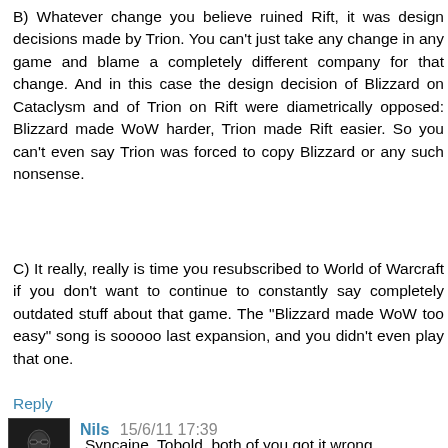B) Whatever change you believe ruined Rift, it was design decisions made by Trion. You can't just take any change in any game and blame a completely different company for that change. And in this case the design decision of Blizzard on Cataclysm and of Trion on Rift were diametrically opposed: Blizzard made WoW harder, Trion made Rift easier. So you can't even say Trion was forced to copy Blizzard or any such nonsense.
C) It really, really is time you resubscribed to World of Warcraft if you don't want to continue to constantly say completely outdated stuff about that game. The "Blizzard made WoW too easy" song is sooooo last expansion, and you didn't even play that one.
Reply
Nils 15/6/11 17:39
Syncaine, Tobold, both of you got it wrong.
The problem is not inaccessible content. Nor is it